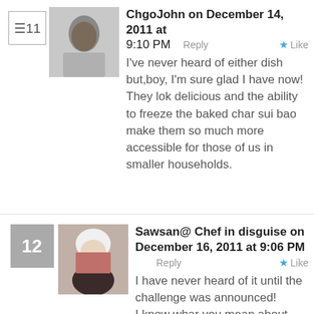ChgoJohn on December 14, 2011 at 9:10 PM  Reply  Like
I've never heard of either dish but,boy, I'm sure glad I have now! They lok delicious and the ability to freeze the baked char sui bao make them so much more accessible for those of us in smaller households.
Sawsan@ Chef in disguise on December 16, 2011 at 9:06 PM  Reply  Like
I have never heard of it until the challenge was announced!
I know whar you mean about small house hold having trouble with big portions!